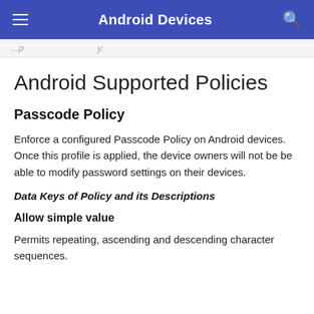Android Devices
Android Supported Policies
Passcode Policy
Enforce a configured Passcode Policy on Android devices. Once this profile is applied, the device owners will not be be able to modify password settings on their devices.
Data Keys of Policy and its Descriptions
Allow simple value
Permits repeating, ascending and descending character sequences.